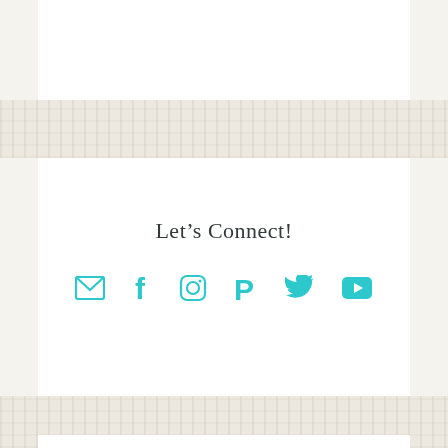Let's Connect!
[Figure (infographic): Six social media icons in teal/cyan color: email envelope, Facebook f, Instagram camera, Pinterest P, Twitter bird, YouTube play button]
Oh Hi!
[Figure (photo): Portrait photo of a woman with blonde hair and glasses, outdoors with greenery background]
My name is Bev – thanks for stopping by Flamingo Toes!